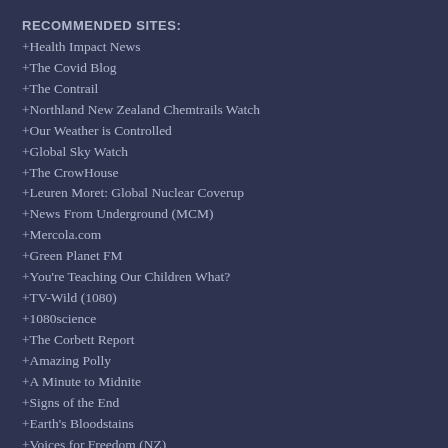RECOMMENDED SITES:
+Health Impact News
+The Covid Blog
+The Contrail
+Northland New Zealand Chemtrails Watch
+Our Weather is Controlled
+Global Sky Watch
+The CrowHouse
+Leuren Moret: Global Nuclear Coverup
+News From Underground (MCM)
+Mercola.com
+Green Planet FM
+You're Teaching Our Children What?
+TV-Wild (1080)
+1080science
+The Corbett Report
+Amazing Polly
+A Minute to Midnite
+Signs of the End
+Earth's Bloodstains
+Voices for Freedom (NZ)
+From Rome
+Dr Sam Bailey